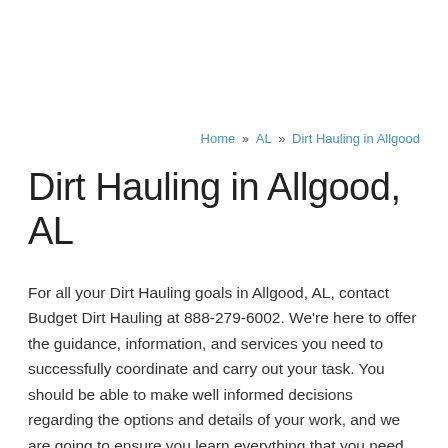Home » AL » Dirt Hauling in Allgood
Dirt Hauling in Allgood, AL
For all your Dirt Hauling goals in Allgood, AL, contact Budget Dirt Hauling at 888-279-6002. We're here to offer the guidance, information, and services you need to successfully coordinate and carry out your task. You should be able to make well informed decisions regarding the options and details of your work, and we are going to ensure you learn everything that you need to know and have the advantage of our years of professional experience. Get in touch with our location in Allgood, AL to find out everything you should know to ensure that the project is really a success. You'll be